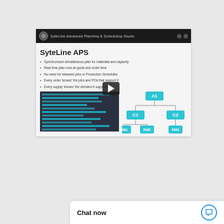[Figure (screenshot): Video thumbnail of SyteLine Advanced Planning & Scheduling Studio with title bar and play button overlay]
SyteLine APS
Synchronized simultaneous plan for materials and capacity
Real time plan runs at quote and order time
No need for released jobs or Production Schedules
Every order 'knows' the jobs and POs that support it
Every supply 'knows' the demand it supports
[Figure (screenshot): Screenshot of SyteLine APS planning grid with teal/blue colored rows on dark background]
[Figure (organizational-chart): Tree diagram showing A1 at top, C1 and C2 below, then RM1, RM2, RM3 at bottom level. All nodes are teal/cyan rounded rectangles.]
Chat now